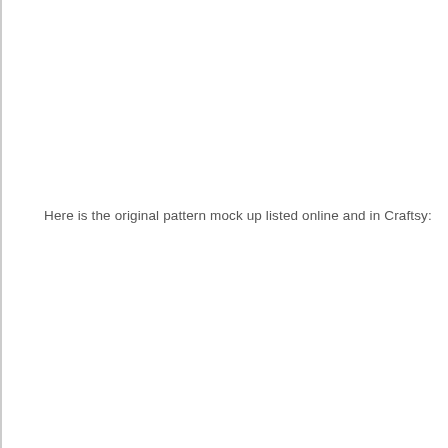Here is the original pattern mock up listed online and in Craftsy: